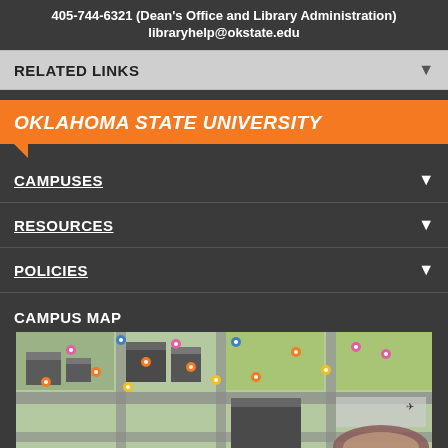405-744-6321 (Dean's Office and Library Administration)
libraryhelp@okstate.edu
RELATED LINKS
OKLAHOMA STATE UNIVERSITY
CAMPUSES
RESOURCES
POLICIES
CAMPUS MAP
[Figure (map): 3D aerial campus map of Oklahoma State University showing buildings, roads, parking areas, green spaces, and a stadium, with colored pin markers indicating various campus locations]